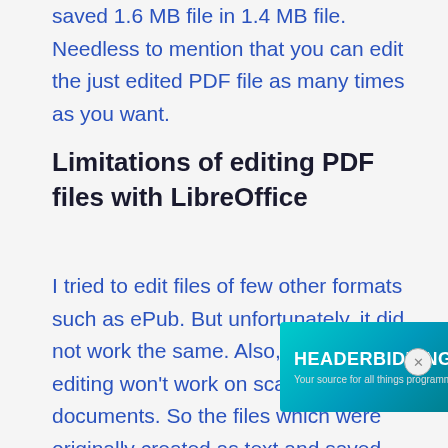saved 1.6 MB file in 1.4 MB file. Needless to mention that you can edit the just edited PDF file as many times as you want.
Limitations of editing PDF files with LibreOffice
I tried to edit files of few other formats such as ePub. But unfortunately, it did not work the same. Also, this PDF editing won't work on scanned documents. So the files which were originally created as text and saved as PDF can be edited very easily but it's not true in case because those pages are actually images and
[Figure (other): Advertisement banner for HEADERBIDDING.COM with text 'Your source for all things programmatic advertising.' on a teal/cyan gradient background with decorative circles.]